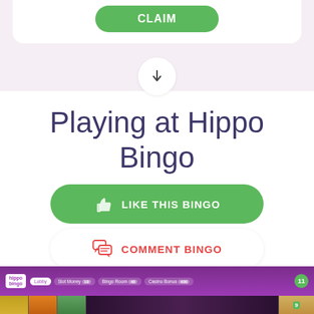[Figure (screenshot): Green CLAIM button at top of card on pink/white background]
[Figure (illustration): Circle with down arrow indicating scroll or next section]
Playing at Hippo Bingo
[Figure (illustration): Green rounded button with thumbs-up icon and text LIKE THIS BINGO]
[Figure (illustration): White rounded button with comment icon and text COMMENT BINGO]
[Figure (screenshot): Screenshot of Hippo Bingo website interface at the bottom of the page]